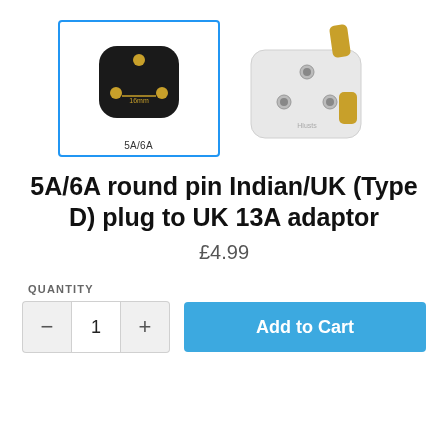[Figure (photo): Two electrical plug images: left thumbnail (selected, blue border) shows a black Indian/UK 5A/6A round-pin plug (Type D) with gold pins, labeled '5A/6A'; right shows a white UK 13A adapter plug with three rectangular pins.]
5A/6A round pin Indian/UK (Type D) plug to UK 13A adaptor
£4.99
QUANTITY
− 1 + Add to Cart